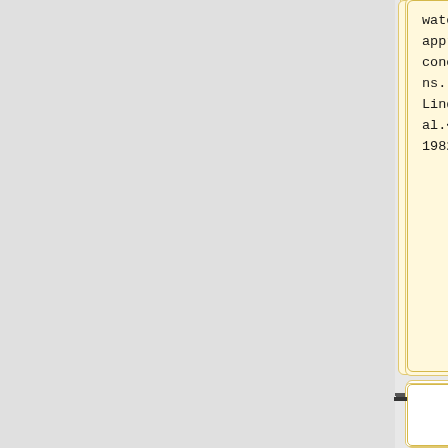water at appropriate concentrations. Source: Lindow <i>et al.</i>, 1982.]]
[[Image:Lindow_et_al_sterile.jpg|thumb|300px|left|[Figure 4] <br> Ice nucleation activity of corn leaf disks from plants with and without